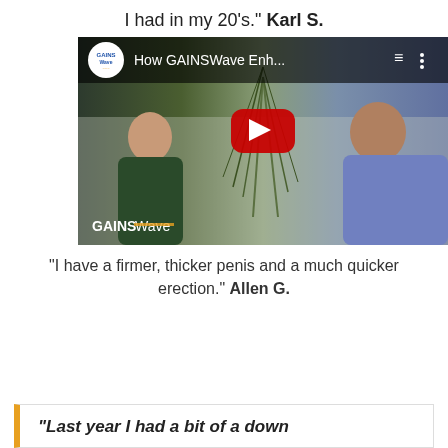I had in my 20's." Karl S.
[Figure (screenshot): YouTube video thumbnail showing GAINSWave video titled 'How GAINSWave Enh...' with two people sitting across from each other, a red YouTube play button in the center, and the GAINSWave watermark logo in the bottom left.]
"I have a firmer, thicker penis and a much quicker erection." Allen G.
“Last year I had a bit of a down